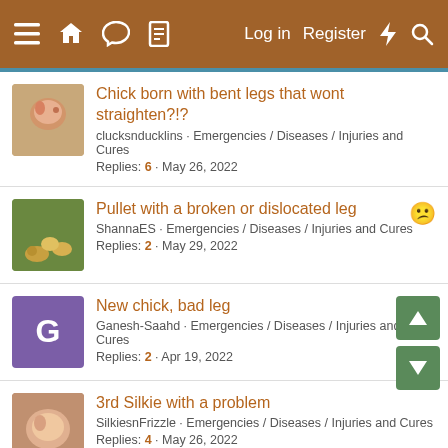≡ 🏠 💬 📄   Log in  Register  ⚡ 🔍
Chick born with bent legs that wont straighten?!? | clucksnducklins · Emergencies / Diseases / Injuries and Cures | Replies: 6 · May 26, 2022
Pullet with a broken or dislocated leg | ShannaES · Emergencies / Diseases / Injuries and Cures | Replies: 2 · May 29, 2022
New chick, bad leg | Ganesh-Saahd · Emergencies / Diseases / Injuries and Cures | Replies: 2 · Apr 19, 2022
3rd Silkie with a problem | SilkiesnFrizzle · Emergencies / Diseases / Injuries and Cures | Replies: 4 · May 26, 2022
chick with injured leg. | Anonymous Chicken · Emergencies / Diseases / Injuries and Cures